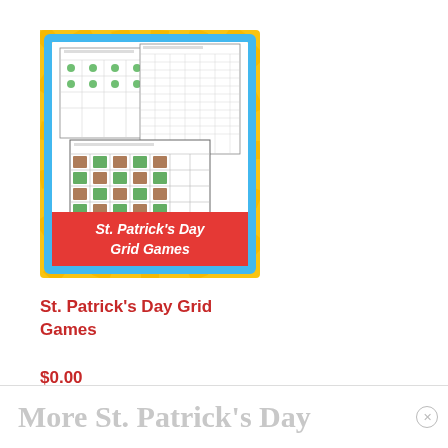[Figure (illustration): Product thumbnail for St. Patrick's Day Grid Games educational resource. Shows a yellow sunburst background with blue border frame. Inside are three worksheet previews — one with shamrock grid, one with small symbol grids, and one with colored leprechaun/icon grids. A red banner at the bottom reads 'St. Patrick's Day Grid Games' in white italic text.]
St. Patrick’s Day Grid Games
$0.00
More St. Patrick’s Day